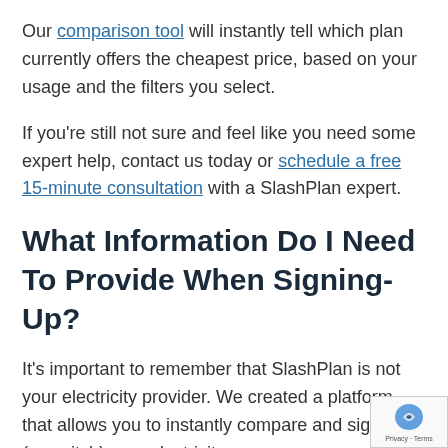Our comparison tool will instantly tell which plan currently offers the cheapest price, based on your usage and the filters you select.
If you're still not sure and feel like you need some expert help, contact us today or schedule a free 15-minute consultation with a SlashPlan expert.
What Information Do I Need To Provide When Signing-Up?
It's important to remember that SlashPlan is not your electricity provider. We created a platform that allows you to instantly compare and sign-up (or switch) your electricity